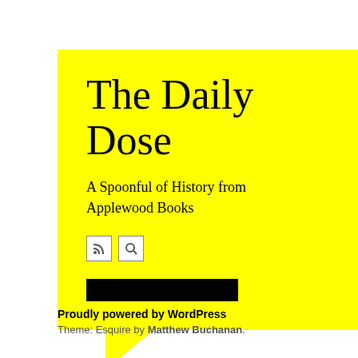[Figure (other): Yellow speech bubble logo for The Daily Dose blog with title, subtitle, RSS/search icons, and black bar]
The Daily Dose
A Spoonful of History from Applewood Books
February
January
December
November
October
September
August
July 2
June 2
September
CATEGORIES
Uncat
META
Log in
Entries
Comm
Proudly powered by WordPress
Theme: Esquire by Matthew Buchanan.